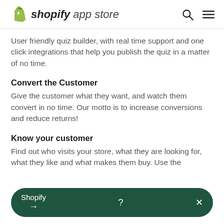shopify app store
User friendly quiz builder, with real time support and one click integrations that help you publish the quiz in a matter of no time.
Convert the Customer
Give the customer what they want, and watch them convert in no time. Our motto is to increase conversions and reduce returns!
Know your customer
Find out who visits your store, what they are looking for, what they like and what makes them buy. Use the